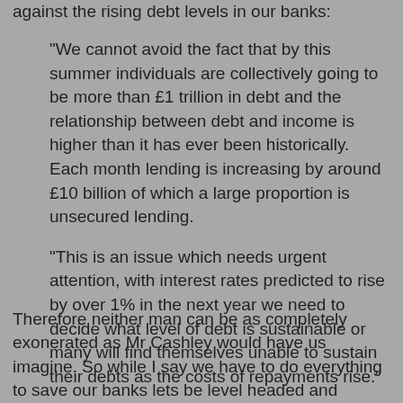against the rising debt levels in our banks:
"We cannot avoid the fact that by this summer individuals are collectively going to be more than £1 trillion in debt and the relationship between debt and income is higher than it has ever been historically. Each month lending is increasing by around £10 billion of which a large proportion is unsecured lending.
"This is an issue which needs urgent attention, with interest rates predicted to rise by over 1% in the next year we need to decide what level of debt is sustainable or many will find themselves unable to sustain their debts as the costs of repayments rise."
Therefore neither man can be as completely exonerated as Mr Cashley would have us imagine. So while I say we have to do everything to save our banks lets be level headed and